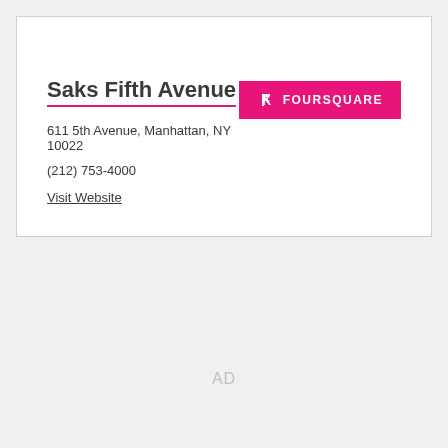Saks Fifth Avenue
611 5th Avenue, Manhattan, NY 10022
(212) 753-4000
Visit Website
[Figure (logo): Foursquare button logo with pink background and white Foursquare icon and text FOURSQUARE]
AD